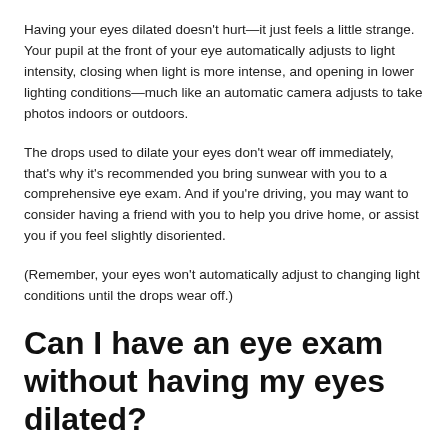Having your eyes dilated doesn't hurt—it just feels a little strange. Your pupil at the front of your eye automatically adjusts to light intensity, closing when light is more intense, and opening in lower lighting conditions—much like an automatic camera adjusts to take photos indoors or outdoors.
The drops used to dilate your eyes don't wear off immediately, that's why it's recommended you bring sunwear with you to a comprehensive eye exam. And if you're driving, you may want to consider having a friend with you to help you drive home, or assist you if you feel slightly disoriented.
(Remember, your eyes won't automatically adjust to changing light conditions until the drops wear off.)
Can I have an eye exam without having my eyes dilated?
In short, yes. Most vision screenings done at a pediatrician's office, health clinic or community health organizations don't